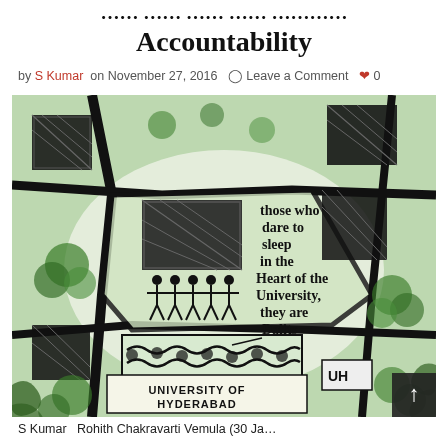... Accountability
by S Kumar on November 27, 2016  Leave a Comment  0
[Figure (illustration): A black ink sketch/illustration of University of Hyderabad campus from above, with handwritten text reading 'those who dare to sleep in the heart of the University, they are Dalits'. Shows buildings, people, and 'UNIVERSITY OF HYDERABAD' label at bottom.]
S Kumar  Rohith Chakravarti Vemula (30 Ja...